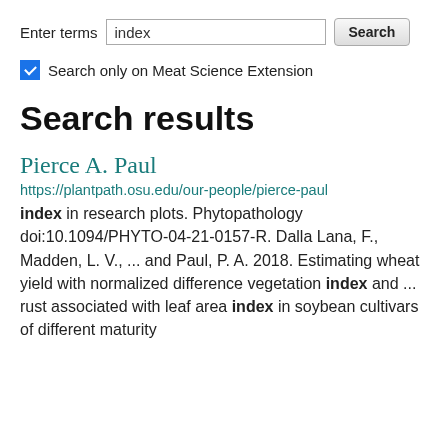Enter terms  index  Search
Search only on Meat Science Extension
Search results
Pierce A. Paul
https://plantpath.osu.edu/our-people/pierce-paul
index in research plots. Phytopathology doi:10.1094/PHYTO-04-21-0157-R. Dalla Lana, F., Madden, L. V., ... and Paul, P. A. 2018. Estimating wheat yield with normalized difference vegetation index and ... rust associated with leaf area index in soybean cultivars of different maturity